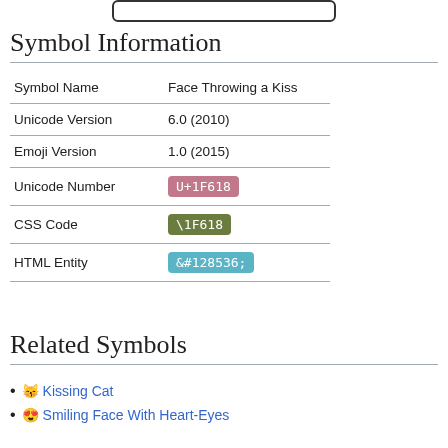[Figure (other): Rounded rectangle outline at top of page]
Symbol Information
|  |  |
| --- | --- |
| Symbol Name | Face Throwing a Kiss |
| Unicode Version | 6.0 (2010) |
| Emoji Version | 1.0 (2015) |
| Unicode Number | U+1F618 |
| CSS Code | \1F618 |
| HTML Entity | &#128536; |
Related Symbols
Kissing Cat
Smiling Face With Heart-Eyes